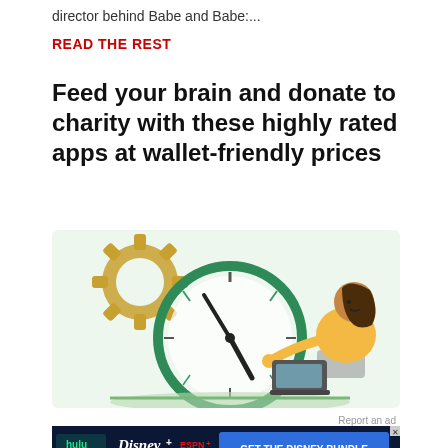director behind Babe and Babe:...
READ THE REST
Feed your brain and donate to charity with these highly rated apps at wallet-friendly prices
[Figure (illustration): Illustration of a woman in a yellow outfit working on a laptop beside a large clock, with a gold gear in the background, on a light green background.]
Report an ad
[Figure (screenshot): Disney Bundle advertisement banner showing Hulu, Disney+, and ESPN+ logos with text GET THE DISNEY BUNDLE and fine print about included services.]